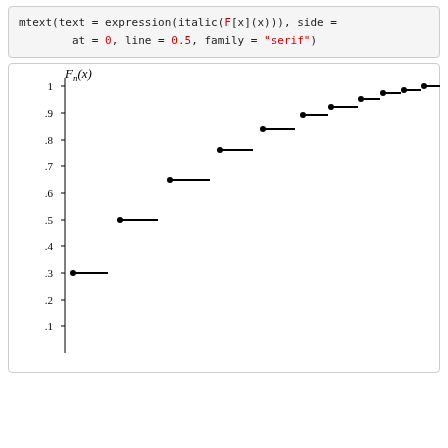mtext(text = expression(italic(F[x](x))), side =
        at = 0, line = 0.5, family = "serif")
[Figure (continuous-plot): Empirical CDF step function plot showing F_n(x) on y-axis from 0 to 1. Steps increase from approximately 0.3 at left to 1.0 at right, with filled dots at left endpoints of each step segment. Y-axis labeled with values .1 through 1. The label is F_n(x) in italic serif font.]